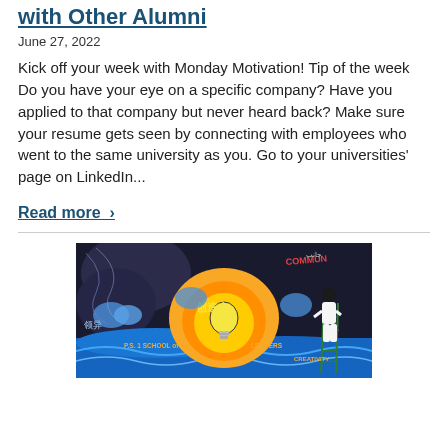with Other Alumni
June 27, 2022
Kick off your week with Monday Motivation! Tip of the week Do you have your eye on a specific company? Have you applied to that company but never heard back? Make sure your resume gets seen by connecting with employees who went to the same university as you. Go to your universities' page on LinkedIn...
Read more >
[Figure (photo): A person in white clothing painting a colorful mural featuring a lightbulb, Chinese characters for creativity (创造力), clouds, and text reading 'SCHOOL of LEADERS', 'CREATIVITY', 'COMMUNITY' on a vibrant background of blues, oranges and yellows.]